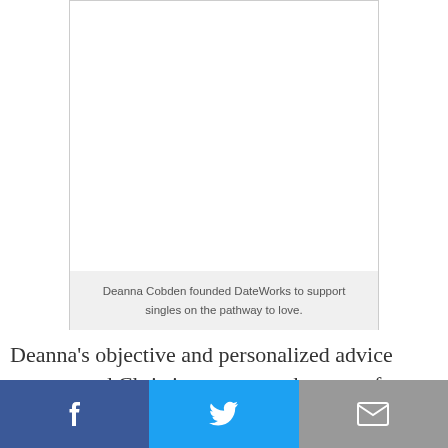[Figure (photo): Photo of Deanna Cobden, founder of DateWorks]
Deanna Cobden founded DateWorks to support singles on the pathway to love.
Deanna's objective and personalized advice empowered Christine to attract the type of men she wanted to commit to a long-term relationship with, and at practicing
[Figure (infographic): Social sharing bar with Facebook, Twitter, and email/envelope icons]